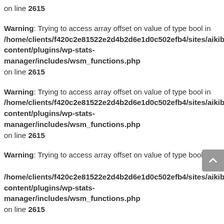on line 2615
Warning: Trying to access array offset on value of type bool in /home/clients/f420c2e81522e2d4b2d6e1d0c502efb4/sites/aikibud/content/plugins/wp-stats-manager/includes/wsm_functions.php on line 2615
Warning: Trying to access array offset on value of type bool in /home/clients/f420c2e81522e2d4b2d6e1d0c502efb4/sites/aikibud/content/plugins/wp-stats-manager/includes/wsm_functions.php on line 2615
Warning: Trying to access array offset on value of type bool in /home/clients/f420c2e81522e2d4b2d6e1d0c502efb4/sites/aikibud/content/plugins/wp-stats-manager/includes/wsm_functions.php on line 2615
Warning: Trying to access array offset on value of type bool in /home/clients/f420c2e81522e2d4b2d6e1d0c502efb4/sites/aikibud